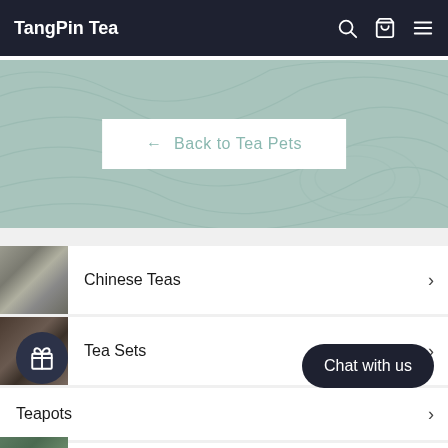TangPin Tea
[Figure (screenshot): Teal/sage green banner background with subtle topographic contour line patterns]
← Back to Tea Pets
Chinese Teas
Tea Sets
Teapots
Tea Cups
Tea Accessories